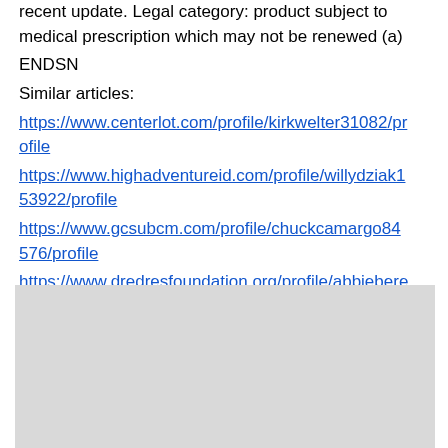recent update. Legal category: product subject to medical prescription which may not be renewed (a)
ENDSN
Similar articles:
https://www.centerlot.com/profile/kirkwelter31082/profile
https://www.highadventureid.com/profile/willydziak153922/profile
https://www.gcsubcm.com/profile/chuckcamargo84576/profile
https://www.dredresfoundation.org/profile/abbieberesford17515/profile
[Figure (other): Gray rectangle placeholder image]